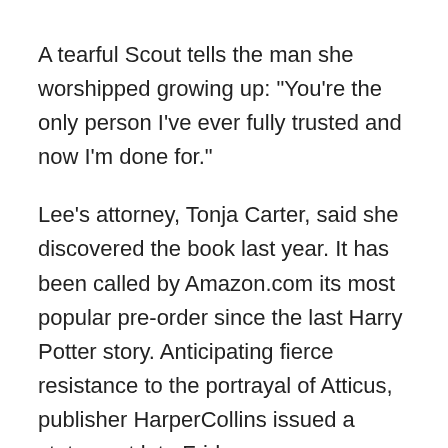A tearful Scout tells the man she worshipped growing up: "You're the only person I've ever fully trusted and now I'm done for."
Lee's attorney, Tonja Carter, said she discovered the book last year. It has been called by Amazon.com its most popular pre-order since the last Harry Potter story. Anticipating fierce resistance to the portrayal of Atticus, publisher HarperCollins issued a statement late Friday.
"The question of Atticus's racism is one of the most important and critical elements in this novel, and it should be considered in the context of the book's